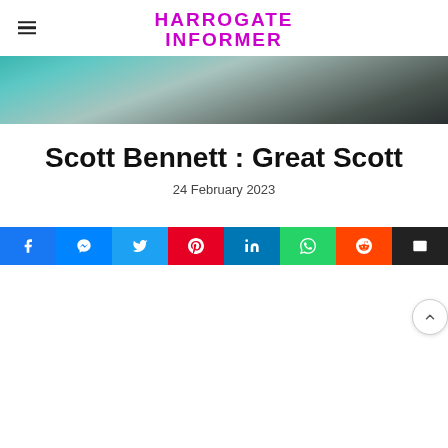HARROGATE INFORMER
[Figure (photo): Partial photo of a person in a dark jacket against a teal/green background, cropped to show lower face and shoulders]
Scott Bennett : Great Scott
24 February 2023
[Figure (infographic): Social media share buttons: Facebook, Messenger, Twitter, Pinterest, LinkedIn, WhatsApp, Reddit, Email]